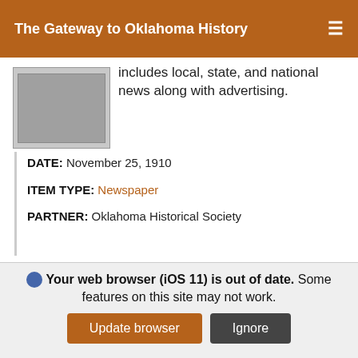The Gateway to Oklahoma History
includes local, state, and national news along with advertising.
DATE: November 25, 1910
ITEM TYPE: Newspaper
PARTNER: Oklahoma Historical Society
[Figure (other): Thumbnail image of a newspaper front page]
Claremore Progress. And Rogers County Democrat (Claremore, Okla.), Vol. 20, No. 40, Ed. 1 Friday, November 1, 1912
Weekly newspaper from...
Your web browser (iOS 11) is out of date. Some features on this site may not work.